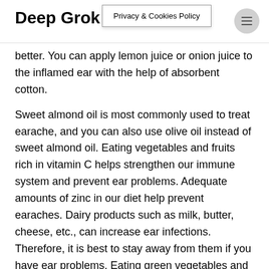Deep Grok | Privacy & Cookies Policy
better. You can apply lemon juice or onion juice to the inflamed ear with the help of absorbent cotton.
Sweet almond oil is most commonly used to treat earache, and you can also use olive oil instead of sweet almond oil. Eating vegetables and fruits rich in vitamin C helps strengthen our immune system and prevent ear problems. Adequate amounts of zinc in our diet help prevent earaches. Dairy products such as milk, butter, cheese, etc., can increase ear infections. Therefore, it is best to stay away from them if you have ear problems. Eating green vegetables and fruits on a regular basis can help with many health problems.
Following specific natural rules can also help protect our ears. When near loud machinery or at a loud